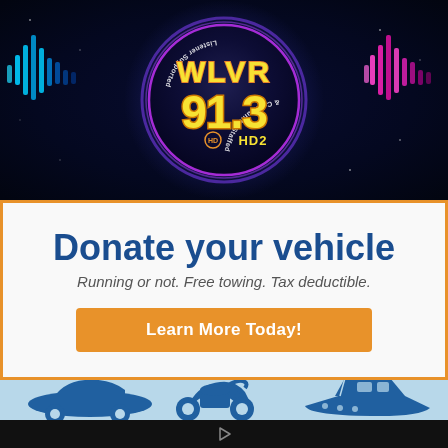[Figure (logo): WLVR 91.3 HD2 radio station logo on dark space-themed background with colorful sound waves. Circle badge with yellow text reading WLVR 91.3 HD2, surrounded by text 'Listener Supported & Community Staffed']
Donate your vehicle
Running or not. Free towing. Tax deductible.
Learn More Today!
[Figure (illustration): Light blue background with dark blue silhouette icons of a convertible car, a motorcycle, and a speedboat representing vehicle donation options]